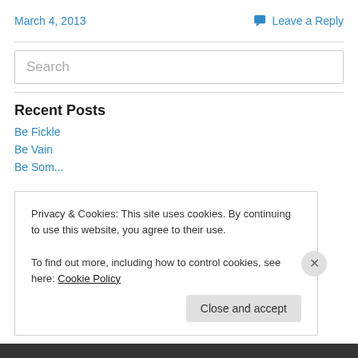March 4, 2013
Leave a Reply
Search
Recent Posts
Be Fickle
Be Vain
Privacy & Cookies: This site uses cookies. By continuing to use this website, you agree to their use. To find out more, including how to control cookies, see here: Cookie Policy
Close and accept